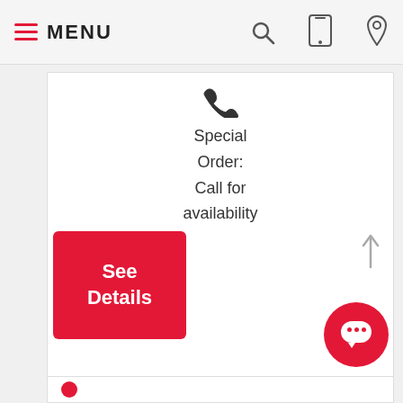MENU
[Figure (screenshot): Phone/mobile icon in nav bar]
[Figure (screenshot): Location pin icon in nav bar]
[Figure (screenshot): Phone handset icon above Special Order text]
Special Order: Call for availability
[Figure (screenshot): Up arrow scroll indicator on right side]
See Details
[Figure (screenshot): Red circular chat bubble button at bottom right]
[Figure (screenshot): Bottom partial card with red dot]